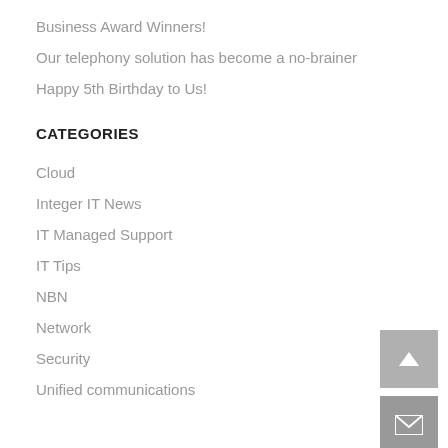Business Award Winners!
Our telephony solution has become a no-brainer
Happy 5th Birthday to Us!
CATEGORIES
Cloud
Integer IT News
IT Managed Support
IT Tips
NBN
Network
Security
Unified communications